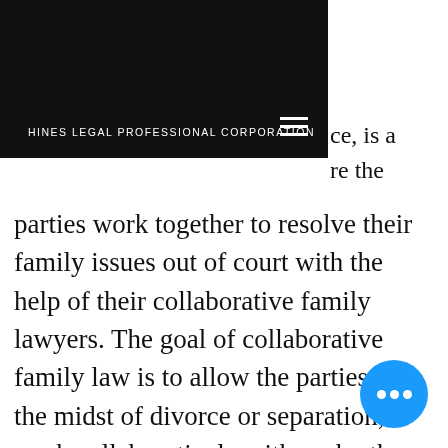HINES LEGAL PROFESSIONAL CORPORATION
…ce, is a …re the parties work together to resolve their family issues out of court with the help of their collaborative family lawyers. The goal of collaborative family law is to allow the parties, in the midst of divorce or separation, to work collaboratively with each other, their lawyers and other third-party specialists to come to a mutually agreeable resolution of the
[Figure (other): Blue circular chat/more-options button with three white dots]